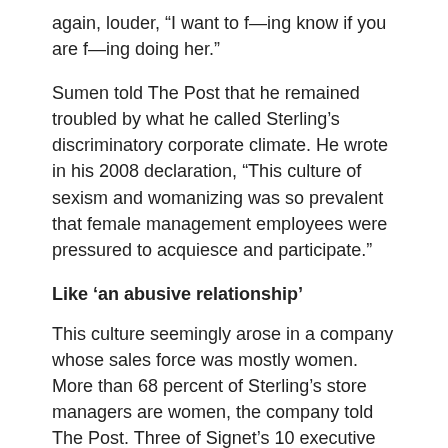again, louder, “I want to f—ing know if you are f—ing doing her.”
Sumen told The Post that he remained troubled by what he called Sterling’s discriminatory corporate climate. He wrote in his 2008 declaration, “This culture of sexism and womanizing was so prevalent that female management employees were pressured to acquiesce and participate.”
Like ‘an abusive relationship’
This culture seemingly arose in a company whose sales force was mostly women. More than 68 percent of Sterling’s store managers are women, the company told The Post. Three of Signet’s 10 executive officers are women. A job-recruitment video calls Sterling “your place to shine” and promises an “exciting and fulfilling career.”